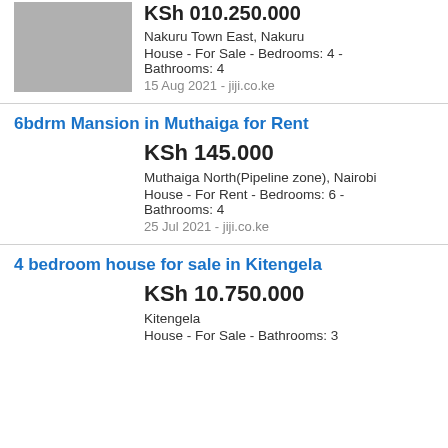[Figure (photo): Thumbnail photo of a house property, greyish blurred image]
KSh 010.250.000
Nakuru Town East, Nakuru
House - For Sale - Bedrooms: 4 - Bathrooms: 4
15 Aug 2021 - jiji.co.ke
6bdrm Mansion in Muthaiga for Rent
KSh 145.000
Muthaiga North(Pipeline zone), Nairobi
House - For Rent - Bedrooms: 6 - Bathrooms: 4
25 Jul 2021 - jiji.co.ke
4 bedroom house for sale in Kitengela
KSh 10.750.000
Kitengela
House - For Sale - Bathrooms: 3